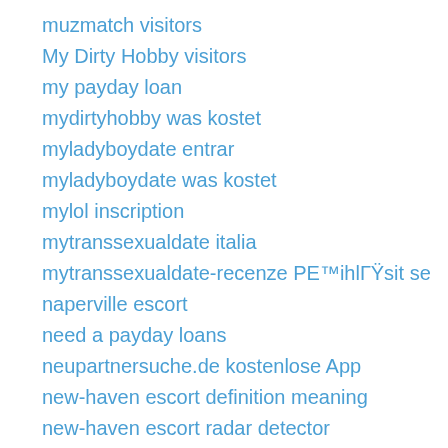muzmatch visitors
My Dirty Hobby visitors
my payday loan
mydirtyhobby was kostet
myladyboydate entrar
myladyboydate was kostet
mylol inscription
mytranssexualdate italia
mytranssexualdate-recenze PE™ihlГŸsit se
naperville escort
need a payday loans
neupartnersuche.de kostenlose App
new-haven escort definition meaning
new-haven escort radar detector
new-mexico albuquerque dating review